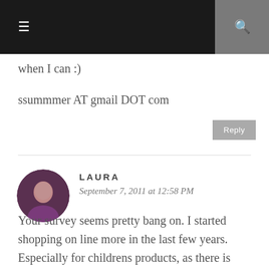Navigation bar with hamburger menu and search icon
when I can :)
ssummmer AT gmail DOT com
Reply
LAURA
September 7, 2011 at 12:58 PM
Your survey seems pretty bang on. I started shopping on line more in the last few years. Especially for childrens products, as there is such a bigger variety online than in the stores!